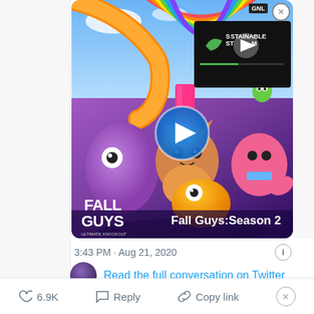[Figure (screenshot): Fall Guys: Season 2 promotional image with colorful cartoon characters, the Fall Guys logo in the bottom-left, and 'Fall Guys:Season 2' text. A play button overlay is visible in the center. A video player overlay (dark background) shows 'SUSTAINABLE STREAM' text with a play button and progress bar. SNL badge and close button visible top-right.]
3:43 PM · Aug 21, 2020
Read the full conversation on Twitter
6.9K
Reply
Copy link